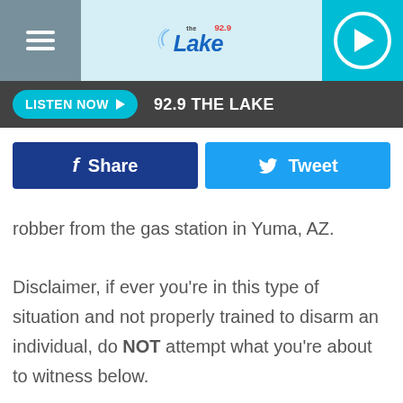[Figure (screenshot): 92.9 The Lake radio station website header with hamburger menu, logo, and play button]
LISTEN NOW  92.9 THE LAKE
[Figure (screenshot): Facebook Share button and Twitter Tweet button]
robber from the gas station in Yuma, AZ.
Disclaimer, if ever you're in this type of situation and not properly trained to disarm an individual, do NOT attempt what you're about to witness below.